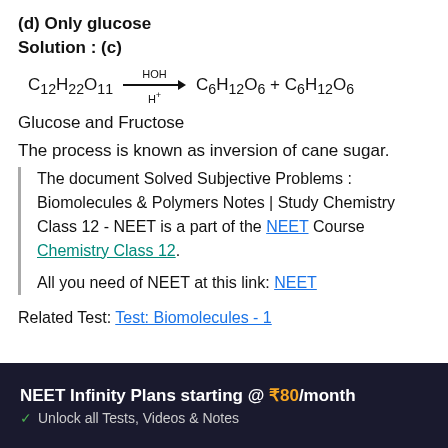(d) Only glucose
Solution : (c)
Glucose and Fructose
The process is known as inversion of cane sugar.
The document Solved Subjective Problems : Biomolecules & Polymers Notes | Study Chemistry Class 12 - NEET is a part of the NEET Course Chemistry Class 12. All you need of NEET at this link: NEET
Related Test: Test: Biomolecules - 1
[Figure (infographic): Dark banner: NEET Infinity Plans starting @ ₹80/month with checkmark and text Unlock all Tests, Videos & Notes]